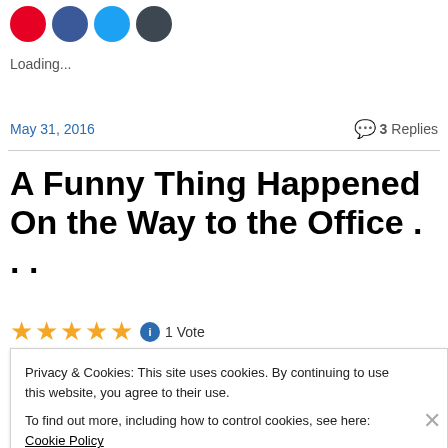[Figure (other): Row of four social sharing icon circles: Pinterest (red), Facebook (blue), Twitter (light blue), More/share (dark grey)]
Loading...
May 31, 2016     💬 3 Replies
A Funny Thing Happened On the Way to the Office . . .
★★★★★ ℹ 1 Vote
Privacy & Cookies: This site uses cookies. By continuing to use this website, you agree to their use.
To find out more, including how to control cookies, see here: Cookie Policy